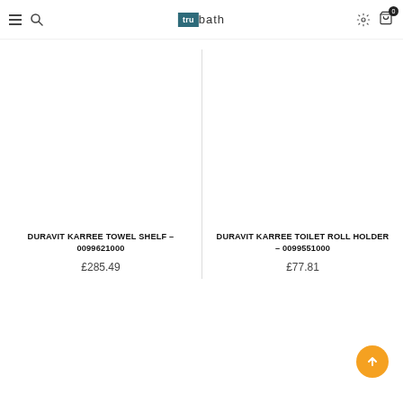[Figure (screenshot): E-commerce website screenshot for trubath.co.uk showing navigation bar with hamburger menu, search icon, logo, settings gear icon, and shopping cart with 0 items badge.]
DURAVIT KARREE TOWEL SHELF – 0099621000
£285.49
DURAVIT KARREE TOILET ROLL HOLDER – 0099551000
£77.81